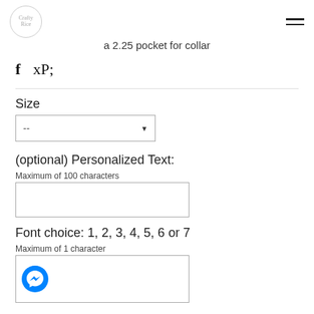[Figure (logo): Crafty Rice circular logo with floral border]
a 2.25 pocket for collar
[Figure (infographic): Social media icons: Facebook f and Pinterest P]
Size
[Figure (screenshot): Dropdown select box with -- placeholder and down arrow]
(optional) Personalized Text:
Maximum of 100 characters
[Figure (screenshot): Empty text input box for personalized text]
Font choice: 1, 2, 3, 4, 5, 6 or 7
Maximum of 1 character
[Figure (screenshot): Text input box with Facebook Messenger chat icon]